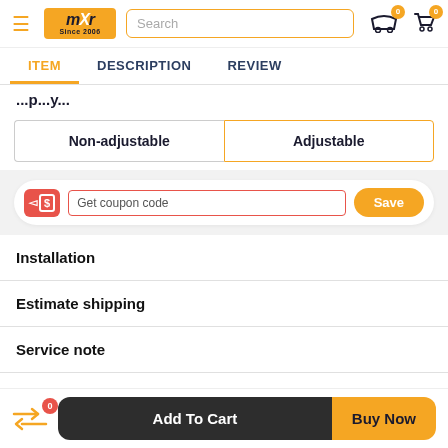mXR Since 2006 — Search bar — header icons with badges
ITEM | DESCRIPTION | REVIEW
...p...y...
Non-adjustable / Adjustable option buttons
Get coupon code — Save
Installation
Estimate shipping
Service note
0 — Add To Cart — Buy Now